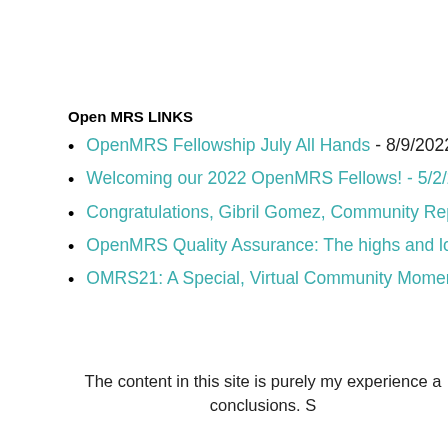Open MRS LINKS
OpenMRS Fellowship July All Hands - 8/9/2022
Welcoming our 2022 OpenMRS Fellows! - 5/2/2...
Congratulations, Gibril Gomez, Community Rep...
OpenMRS Quality Assurance: The highs and low...
OMRS21: A Special, Virtual Community Momen...
The content in this site is purely my experience a... conclusions. S...